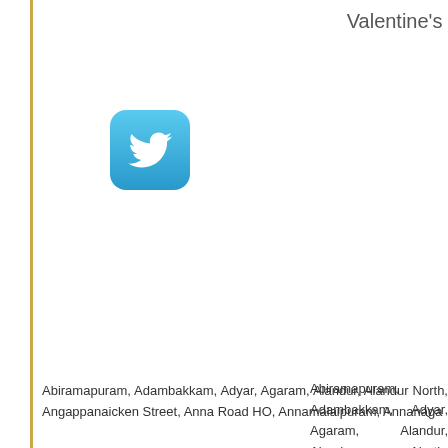Valentine's
[Figure (logo): Twitter bird logo in a blue rounded square icon]
Abiramapuram, Adambakkam, Adyar, Agaram, Alandur, Alandur North, Angappanaicken Street, Anna Road HO, Annamalaipuram, Annanaga Road, Avadi, Avadi Air Force Quarters, Avadi Camp HO, Avadi Iaf, Ay Road, Cathedral, Cemetry Road, Central Institute Of Tech, Central Le HO, Chinnaiah Mudali Colony, Chintadripeta, Chitlapakkam, Choolai Decoster Road, Defence Officers Colony, Dr Ambedkarnagar, Edapak Thermal Station, Ernavur, Flowers Bazar, Flowers Road, Fore Shore Road, Gopalapuram, Goudiyamath Road, Government Estate, Gov Harinarayanapuram, Harrington Road, High Court Buildings, Hindi Pra Jawahar Nagar, KK Nagar, Kadirvedu, Kaladipet, Kalignar Karunanic Medical College, Kilpauk West, Kilpauk, Kodambakkam, Kodambakk Koyambedu, Krishnampet, Kudlyiruppur, Kumaran Nagar, Kunnathur K Madhavaram, Madhavaram East, Madhavaram Milk Colony, Madipak Madras Race Course, Madras University, Mambalam East, Mambalam Mettupalayam, Minambakkam, Mint Buildings, Monegar Choultry, M Naganallur South, Nandanam, Nandanam Bazaar, Nanganallur Ba